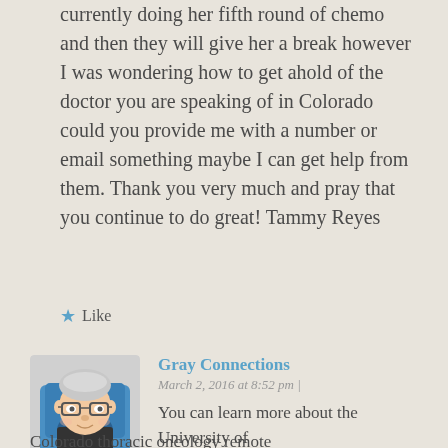currently doing her fifth round of chemo and then they will give her a break however I was wondering how to get ahold of the doctor you are speaking of in Colorado could you provide me with a number or email something maybe I can get help from them. Thank you very much and pray that you continue to do great! Tammy Reyes
★ Like
Gray Connections
March 2, 2016 at 8:52 pm |
You can learn more about the University of Colorado thoracic oncology remote